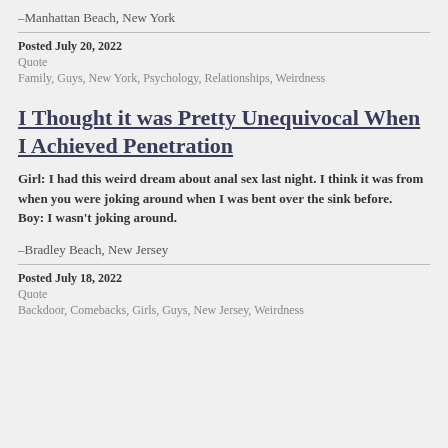–Manhattan Beach, New York
Posted July 20, 2022
Quote
Family, Guys, New York, Psychology, Relationships, Weirdness
I Thought it was Pretty Unequivocal When I Achieved Penetration
Girl: I had this weird dream about anal sex last night. I think it was from when you were joking around when I was bent over the sink before.
Boy: I wasn't joking around.
–Bradley Beach, New Jersey
Posted July 18, 2022
Quote
Backdoor, Comebacks, Girls, Guys, New Jersey, Weirdness